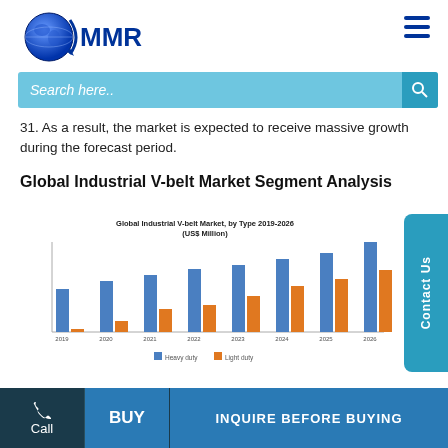MMR logo and search bar
31. As a result, the market is expected to receive massive growth during the forecast period.
Global Industrial V-belt Market Segment Analysis
[Figure (grouped-bar-chart): Global Industrial V-belt Market, by Type 2019-2026 (US$ Million)]
Call | BUY | INQUIRE BEFORE BUYING